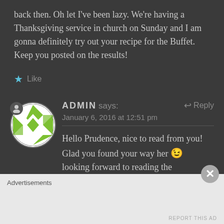back then. Oh let I've been lazy. We're having a Thanksgiving service in church on Sunday and I am gonna definitely try out your recipe for the Buffet. Keep you posted on the results!
★ Like
ADMIN says:
January 6, 2016 at 12:51 pm
Reply
Hello Prudence, nice to read from you! Glad you found your way her 😉 looking forward to reading the
Advertisements